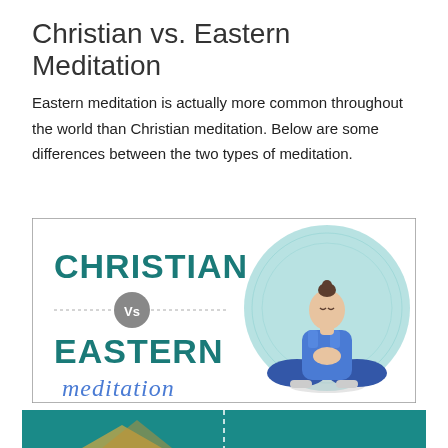Christian vs. Eastern Meditation
Eastern meditation is actually more common throughout the world than Christian meditation. Below are some differences between the two types of meditation.
[Figure (infographic): Infographic showing 'CHRISTIAN Vs EASTERN meditation' title with a woman in blue yoga attire sitting in lotus pose with hands together in prayer, against a teal circular mandala background.]
[Figure (infographic): Bottom portion of another infographic partially visible, showing teal background with additional comparison content.]